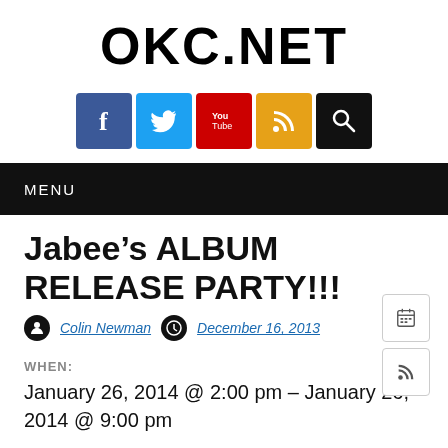OKC.NET
[Figure (infographic): Social media icons row: Facebook (blue), Twitter (cyan), YouTube (red), RSS (orange), Search (black)]
MENU
Jabee’s ALBUM RELEASE PARTY!!!
Colin Newman  December 16, 2013
WHEN:
January 26, 2014 @ 2:00 pm – January 26, 2014 @ 9:00 pm